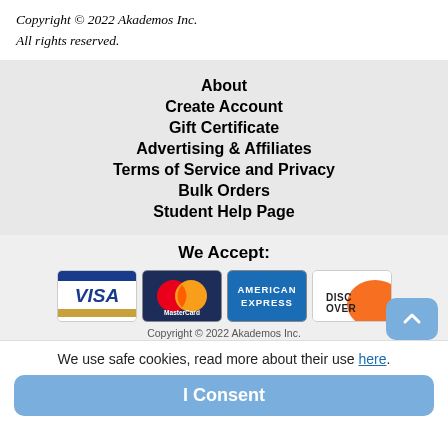Copyright © 2022 Akademos Inc.
All rights reserved.
About
Create Account
Gift Certificate
Advertising & Affiliates
Terms of Service and Privacy
Bulk Orders
Student Help Page
We Accept:
[Figure (illustration): Payment method logos: Visa, MasterCard, American Express, Discover]
Copyright © 2022 Akademos Inc.
We use safe cookies, read more about their use here.
I Consent